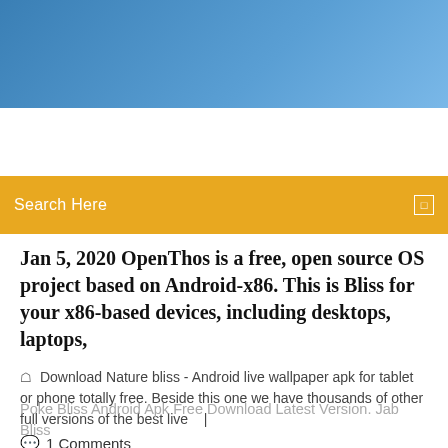[Figure (other): Blue gradient header banner at the top of the page]
[Figure (other): Search bar with golden/amber background reading 'Search Here' with a small square icon on the right]
Jan 5, 2020 OpenThos is a free, open source OS project based on Android-x86. This is Bliss for your x86-based devices, including desktops, laptops,
Download Nature bliss - Android live wallpaper apk for tablet or phone totally free. Beside this one we have thousands of other full versions of the best live   |
1 Comments
Poke Bliss Android Apk Free Download Latest Version. Jab Bliss